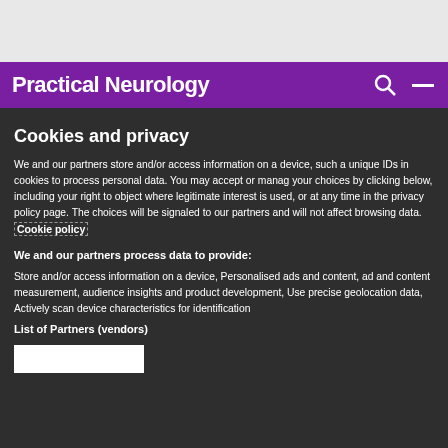Practical Neurology
Cookies and privacy
We and our partners store and/or access information on a device, such as unique IDs in cookies to process personal data. You may accept or manage your choices by clicking below, including your right to object where legitimate interest is used, or at any time in the privacy policy page. These choices will be signaled to our partners and will not affect browsing data. Cookie policy
We and our partners process data to provide:
Store and/or access information on a device, Personalised ads and content, ad and content measurement, audience insights and product development, Use precise geolocation data, Actively scan device characteristics for identification
List of Partners (vendors)